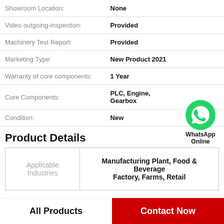| Field | Value |
| --- | --- |
| Showroom Location: | None |
| Video outgoing-inspection: | Provided |
| Machinery Test Report: | Provided |
| Marketing Type: | New Product 2021 |
| Warranty of core components: | 1 Year |
| Core Components: | PLC, Engine, Gearbox |
| Condition: | New |
[Figure (logo): WhatsApp Online green phone icon badge]
Product Details
| Applicable Industries | Value |
| --- | --- |
| Applicable Industries | Manufacturing Plant, Food & Beverage Factory, Farms, Retail |
All Products
Contact Now